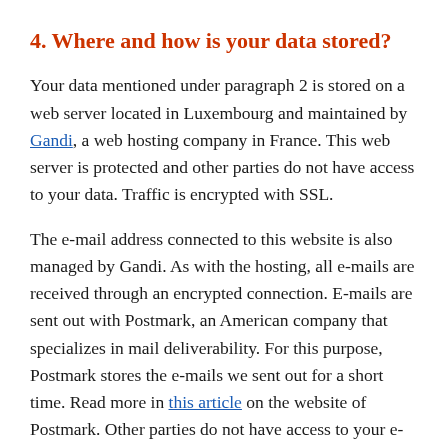4. Where and how is your data stored?
Your data mentioned under paragraph 2 is stored on a web server located in Luxembourg and maintained by Gandi, a web hosting company in France. This web server is protected and other parties do not have access to your data. Traffic is encrypted with SSL.
The e-mail address connected to this website is also managed by Gandi. As with the hosting, all e-mails are received through an encrypted connection. E-mails are sent out with Postmark, an American company that specializes in mail deliverability. For this purpose, Postmark stores the e-mails we sent out for a short time. Read more in this article on the website of Postmark. Other parties do not have access to your e-mails.